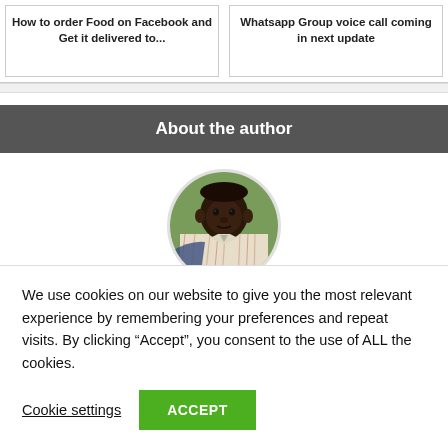How to order Food on Facebook and Get it delivered to...
Whatsapp Group voice call coming in next update
About the author
[Figure (photo): Circular profile photo of the author, a young man in a plaid shirt against a green background]
We use cookies on our website to give you the most relevant experience by remembering your preferences and repeat visits. By clicking “Accept”, you consent to the use of ALL the cookies.
Cookie settings
ACCEPT